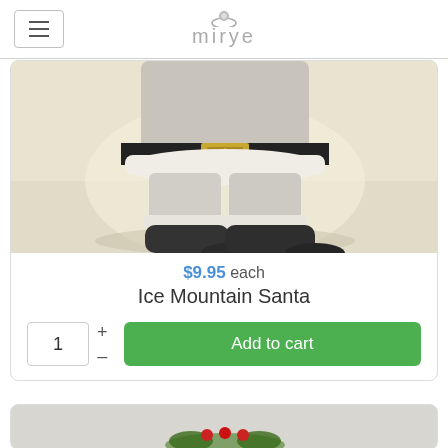mirye
[Figure (photo): 3D rendered image of Ice Mountain Santa lower body with black boots, white fur trim, black belt with gold buckle, on light background]
$9.95 each
Ice Mountain Santa
1
Add to cart
[Figure (photo): Partially visible second product image at bottom of page showing holiday decoration]